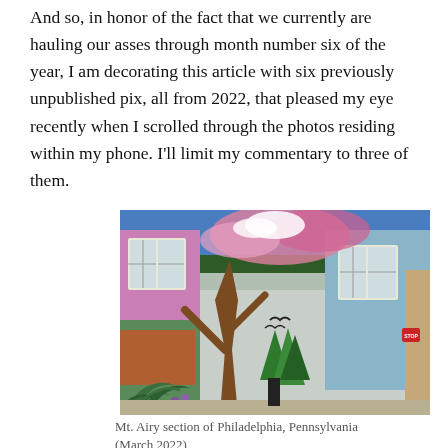And so, in honor of the fact that we currently are hauling our asses through month number six of the year, I am decorating this article with six previously unpublished pix, all from 2022, that pleased my eye recently when I scrolled through the photos residing within my phone. I'll limit my commentary to three of them.
[Figure (photo): A colorful street mural painted on the side of a building in the Mt. Airy section of Philadelphia, Pennsylvania. The mural features a large tree, mountains, greenery, ferns, and flowers. Two windows are visible on the building. A stop sign is visible at the far right edge.]
Mt. Airy section of Philadelphia, Pennsylvania (March 2022)